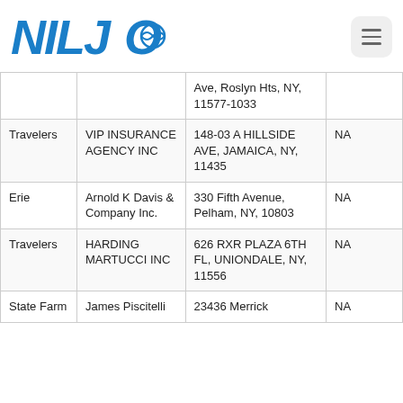[Figure (logo): NILJO logo with blue text and wave/globe icon]
|  |  | Ave, Roslyn Hts, NY, 11577-1033 |  |
| Travelers | VIP INSURANCE AGENCY INC | 148-03 A HILLSIDE AVE, JAMAICA, NY, 11435 | NA |
| Erie | Arnold K Davis & Company Inc. | 330 Fifth Avenue, Pelham, NY, 10803 | NA |
| Travelers | HARDING MARTUCCI INC | 626 RXR PLAZA 6TH FL, UNIONDALE, NY, 11556 | NA |
| State Farm | James Piscitelli | 23436 Merrick | NA |